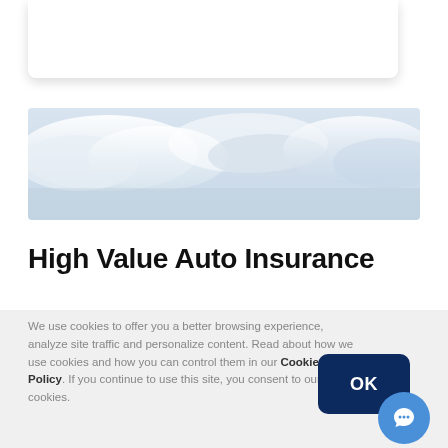[Figure (photo): Cloudy sky hero image banner with light blue-grey gradient clouds]
High Value Auto Insurance
We use cookies to offer you a better browsing experience, analyze site traffic and personalize content. Read about how we use cookies and how you can control them in our Cookie Policy. If you continue to use this site, you consent to our use of cookies.